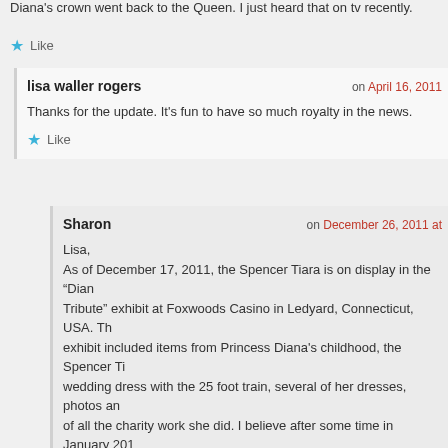Diana's crown went back to the Queen. I just heard that on tv recently.
Like
lisa waller rogers on April 16, 2011
Thanks for the update. It's fun to have so much royalty in the news.
Like
Sharon on December 26, 2011 at
Lisa,
As of December 17, 2011, the Spencer Tiara is on display in the "Diana Tribute" exhibit at Foxwoods Casino in Ledyard, Connecticut, USA. The exhibit included items from Princess Diana's childhood, the Spencer Ti... wedding dress with the 25 foot train, several of her dresses, photos an... of all the charity work she did. I believe after some time in January 201... will be returned to Althorp where the items will be on display in a muse... being constructed. This information was given at the exhibit.
Like